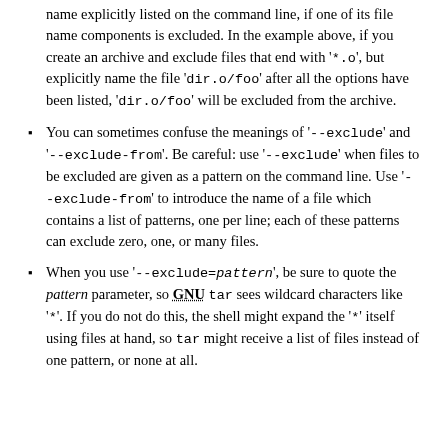name explicitly listed on the command line, if one of its file name components is excluded. In the example above, if you create an archive and exclude files that end with '*.o', but explicitly name the file 'dir.o/foo' after all the options have been listed, 'dir.o/foo' will be excluded from the archive.
You can sometimes confuse the meanings of '--exclude' and '--exclude-from'. Be careful: use '--exclude' when files to be excluded are given as a pattern on the command line. Use '--exclude-from' to introduce the name of a file which contains a list of patterns, one per line; each of these patterns can exclude zero, one, or many files.
When you use '--exclude=pattern', be sure to quote the pattern parameter, so GNU tar sees wildcard characters like '*'. If you do not do this, the shell might expand the '*' itself using files at hand, so tar might receive a list of files instead of one pattern, or none at all.